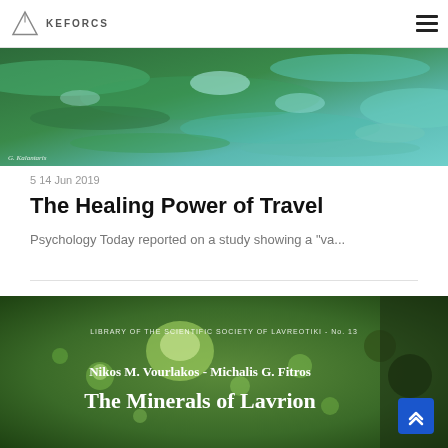KEFORCIS
[Figure (photo): Aerial or close-up photo of green and blue water surface with ripples and reflections, watermark 'G. Kalantaris' in bottom left]
5 14 Jun 2019
The Healing Power of Travel
Psychology Today reported on a study showing a "va...
[Figure (photo): Book cover with green macro background showing water droplets on a leaf. Text: 'LIBRARY OF THE SCIENTIFIC SOCIETY OF LAVREOTIKI - No. 13', 'Nikos M. Vourlakos - Michalis G. Fitros', 'The Minerals of Lavrion']